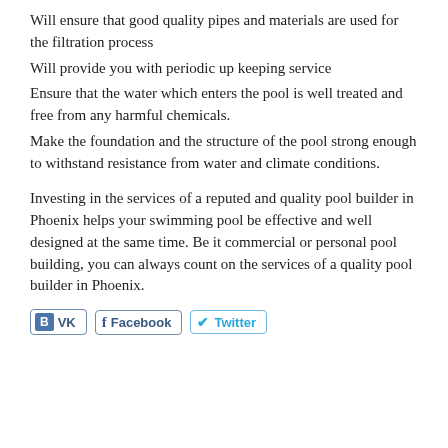Will ensure that good quality pipes and materials are used for the filtration process
Will provide you with periodic up keeping service
Ensure that the water which enters the pool is well treated and free from any harmful chemicals.
Make the foundation and the structure of the pool strong enough to withstand resistance from water and climate conditions.
Investing in the services of a reputed and quality pool builder in Phoenix helps your swimming pool be effective and well designed at the same time. Be it commercial or personal pool building, you can always count on the services of a quality pool builder in Phoenix.
[Figure (other): Social sharing buttons: VK, Facebook, Twitter]